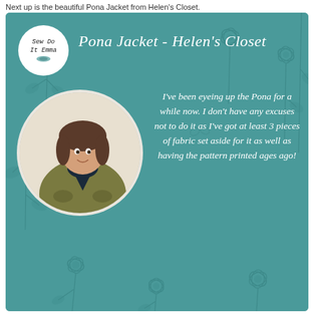Next up is the beautiful Pona Jacket from Helen's Closet.
[Figure (infographic): Teal/green illustrated card with floral background pattern. Top-left has a white circular logo reading 'Sew Do It Emma' with a small needle/scissors icon. Title reads 'Pona Jacket - Helen's Closet' in white italic script. Left side has a circular photo of a woman wearing an olive/khaki jacket over a navy turtleneck with jeans. Right side has italic white quote text.]
I've been eyeing up the Pona for a while now. I don't have any excuses not to do it as I've got at least 3 pieces of fabric set aside for it as well as having the pattern printed ages ago!